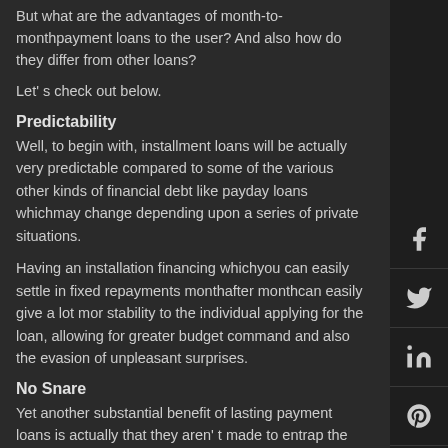But what are the advantages of month-to-monthpayment loans to the user? And also how do they differ from other loans?
Let' s check out below.
Predictability
Well, to begin with, installment loans will be actually very predictable compared to some of the various other kinds of financial debt like payday loans whichmay change depending upon a series of private situations.
Having an installation financing whichyou can easily settle in fixed repayments monthafter monthcan easily give a lot mor stability to the individual applying for the loan, allowing for greater budget command and also the evasion of unpleasant surprises.
No Snare
Yet another substantial benefit of lasting payment loans is actually that they aren' t made to entrap the borrowers &amp;amp;ndash;- some other loans are based on varying rate